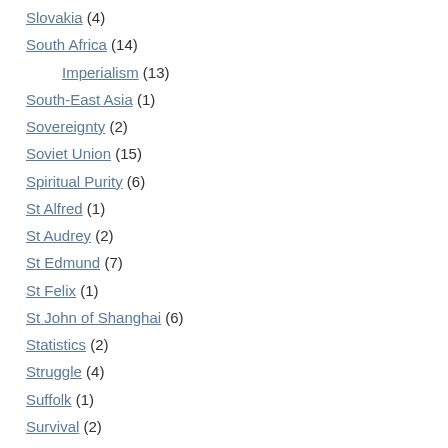Slovakia (4)
South Africa (14)
Imperialism (13)
South-East Asia (1)
Sovereignty (2)
Soviet Union (15)
Spiritual Purity (6)
St Alfred (1)
St Audrey (2)
St Edmund (7)
St Felix (1)
St John of Shanghai (6)
Statistics (2)
Struggle (4)
Suffolk (1)
Survival (2)
Syria (50)
Terrorism (55)
Thailand (1)